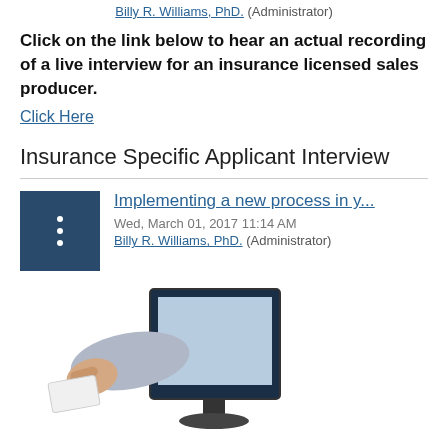Billy R. Williams, PhD. (Administrator)
Click on the link below to hear an actual recording of a live interview for an insurance licensed sales producer.
Click Here
Insurance Specific Applicant Interview
Implementing a new process in y...
Wed, March 01, 2017 11:14 AM
Billy R. Williams, PhD. (Administrator)
[Figure (photo): A person's arm extending through a computer monitor screen handing a business card, illustrating digital business process concept.]